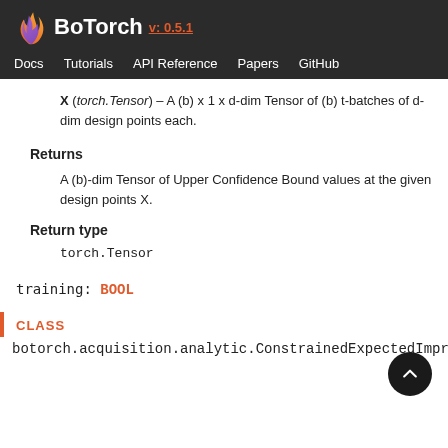BoTorch v: 0.5.1 | Docs | Tutorials | API Reference | Papers | GitHub
X (torch.Tensor) – A (b) x 1 x d-dim Tensor of (b) t-batches of d-dim design points each.
Returns
A (b)-dim Tensor of Upper Confidence Bound values at the given design points X.
Return type
torch.Tensor
training: BOOL
CLASS
botorch.acquisition.analytic.ConstrainedExpectedImprovement